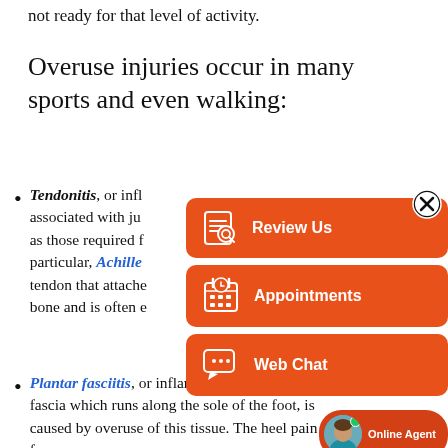not ready for that level of activity.
Overuse injuries occur in many sports and even walking:
Tendonitis, or infl... associated with ju... such as those required f... particular, Achilles... he tendon that attache... line... the bone and is often e...
Plantar fasciitis, or inflammation of the plan... fascia which runs along the sole of the foot, is caused by overuse of this tissue. The heel pain from
[Figure (infographic): Orange overlay panel with three buttons: Review Us, Appointments, Web Chat, each with an icon on the left. A close (X) button in the top right corner. An online agent avatar bubble at the bottom right.]